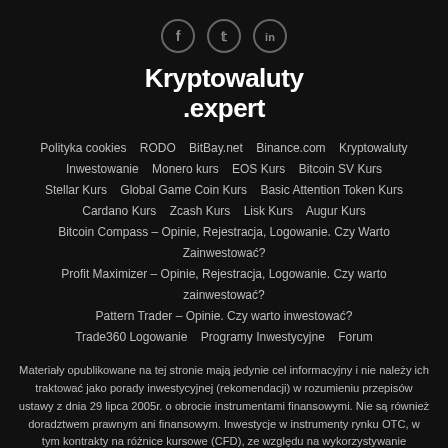[Figure (other): Three social media icons (Facebook, Twitter, LinkedIn) in circles]
Kryptowaluty .expert
Polityka cookies   RODO   BitBay.net   Binance.com   Kryptowaluty   Inwestowanie   Monero kurs   EOS Kurs   Bitcoin SV Kurs   Stellar Kurs   Global Game Coin Kurs   Basic Attention Token Kurs   Cardano Kurs   Zcash Kurs   Lisk Kurs   Augur Kurs   Bitcoin Compass – Opinie, Rejestracja, Logowanie. Czy Warto Zainwestować?   Profit Maximizer – Opinie, Rejestracja, Logowanie. Czy warto zainwestować?   Pattern Trader – Opinie. Czy warto inwestować?   Trade360 Logowanie   Programy Inwestycyjne   Forum
Materiały opublikowane na tej stronie mają jedynie cel informacyjny i nie należy ich traktować jako porady inwestycyjnej (rekomendacji) w rozumieniu przepisów ustawy z dnia 29 lipca 2005r. o obrocie instrumentami finansowymi. Nie są również doradztwem prawnym ani finansowym. Inwestycje w instrumenty rynku OTC, w tym kontrakty na różnice kursowe (CFD), ze względu na wykorzystywanie mechanizmu dźwigni finansowej wiążą się z możliwością poniesienia strat nawet przy niewielkiej zmianie ceny instrumentu bazowego, na podstawie